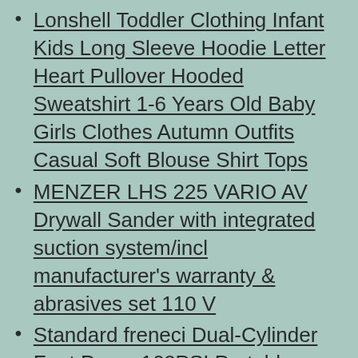Lonshell Toddler Clothing Infant Kids Long Sleeve Hoodie Letter Heart Pullover Hooded Sweatshirt 1-6 Years Old Baby Girls Clothes Autumn Outfits Casual Soft Blouse Shirt Tops
MENZER LHS 225 VARIO AV Drywall Sander with integrated suction system/incl manufacturer's warranty & abrasives set 110 V
Standard freneci Dual-Cylinder Foot Pump 160PSI Portable Floor Bike Pump Smart Valves Air Pump for Bicycles Cars Balls Fits Presta Schrader and Deutschland Valve